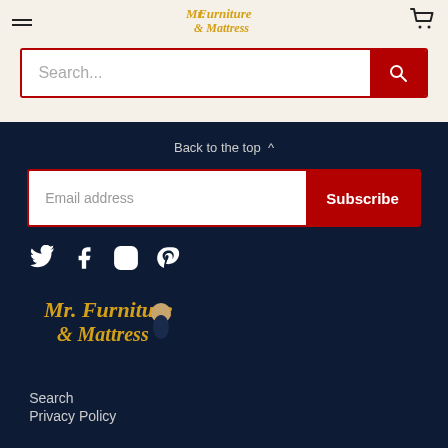[Figure (logo): Mr. Furniture & Mattress logo in gold/yellow script font with cartoon character]
[Figure (screenshot): Search input bar with red search button]
Back to the top ^
[Figure (screenshot): Email address input with red Subscribe button]
[Figure (infographic): Social media icons: Twitter, Facebook, Instagram, Pinterest]
[Figure (logo): Mr. Furniture & Mattress footer logo]
Search
Privacy Policy